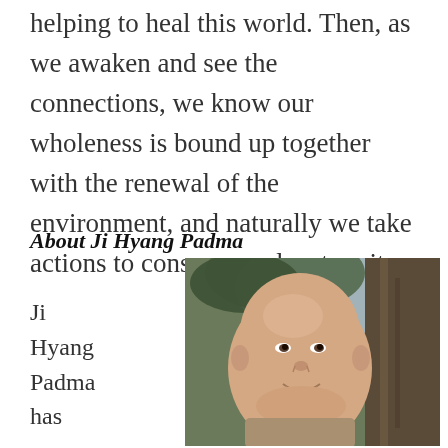helping to heal this world. Then, as we awaken and see the connections, we know our wholeness is bound up together with the renewal of the environment, and naturally we take actions to conserve and restore it.
About Ji Hyang Padma
Ji Hyang Padma has
[Figure (photo): Headshot of Ji Hyang Padma, a bald person smiling, photographed outdoors with trees in the background.]